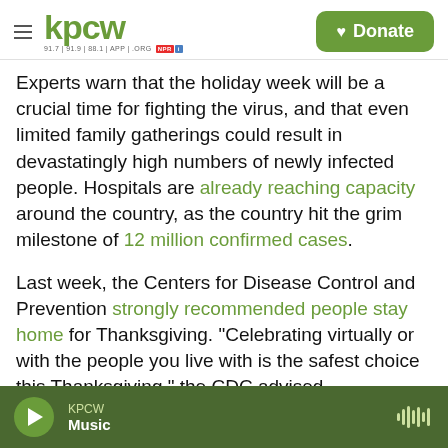kpcw — 91.7 | 91.9 | 88.1 | APP | .ORG — NPR — Donate
Experts warn that the holiday week will be a crucial time for fighting the virus, and that even limited family gatherings could result in devastatingly high numbers of newly infected people. Hospitals are already reaching capacity around the country, as the country hit the grim milestone of 12 million confirmed cases.
Last week, the Centers for Disease Control and Prevention strongly recommended people stay home for Thanksgiving. "Celebrating virtually or with the people you live with is the safest choice this Thanksgiving," the CDC advised.
KPCW — Music